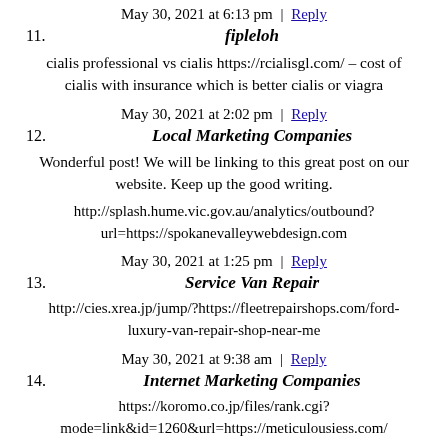May 30, 2021 at 6:13 pm | Reply
11. fipleloh
cialis professional vs cialis https://rcialisgl.com/ – cost of cialis with insurance which is better cialis or viagra
May 30, 2021 at 2:02 pm | Reply
12. Local Marketing Companies
Wonderful post! We will be linking to this great post on our website. Keep up the good writing.
http://splash.hume.vic.gov.au/analytics/outbound?url=https://spokanevalleywebdesign.com
May 30, 2021 at 1:25 pm | Reply
13. Service Van Repair
http://cies.xrea.jp/jump/?https://fleetrepairshops.com/ford-luxury-van-repair-shop-near-me
May 30, 2021 at 9:38 am | Reply
14. Internet Marketing Companies
https://koromo.co.jp/files/rank.cgi?mode=link&id=1260&url=https://meticulousiess.com/